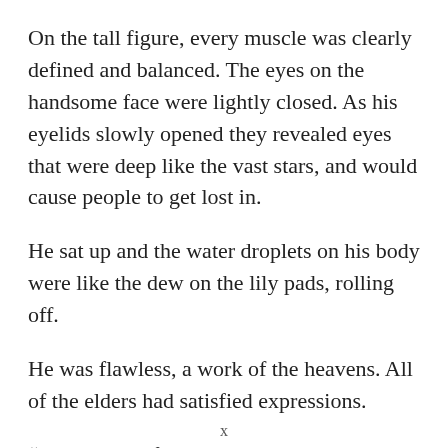On the tall figure, every muscle was clearly defined and balanced. The eyes on the handsome face were lightly closed. As his eyelids slowly opened they revealed eyes that were deep like the vast stars, and would cause people to get lost in.
He sat up and the water droplets on his body were like the dew on the lily pads, rolling off.
He was flawless, a work of the heavens. All of the elders had satisfied expressions.
“How do you feel?” the snowy-haired sect leader asked. Lin Qian could hear the concern in the
x